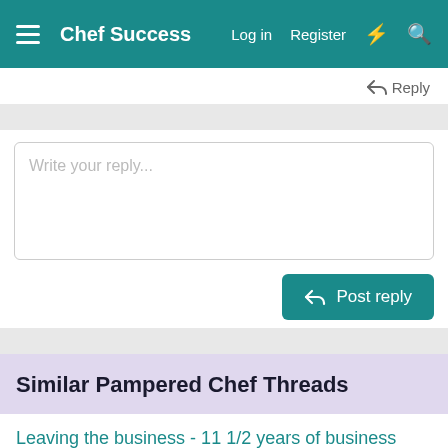Chef Success | Log in | Register
Reply
Write your reply...
Post reply
Similar Pampered Chef Threads
Leaving the business - 11 1/2 years of business